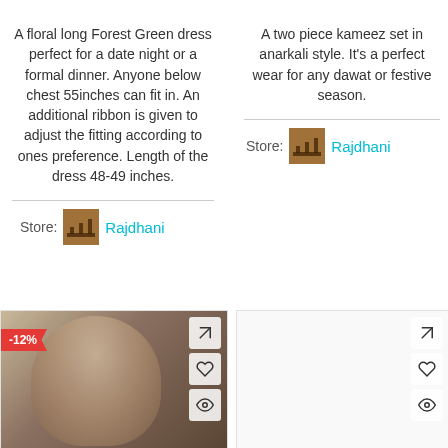A floral long Forest Green dress perfect for a date night or a formal dinner. Anyone below chest 55inches can fit in. An additional ribbon is given to adjust the fitting according to ones preference. Length of the dress 48-49 inches.
Store: Rajdhani
A two piece kameez set in anarkali style. It's a perfect wear for any dawat or festive season.
Store: Rajdhani
[Figure (photo): Product card showing a woman wearing a floral dress, with a -12% discount badge and action icons (pin, heart, eye)]
[Figure (photo): Empty product card placeholder with action icons (pin, heart, eye)]